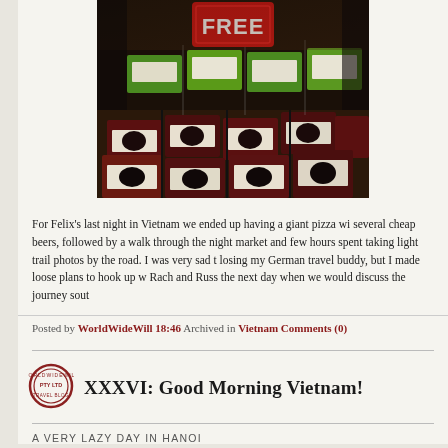[Figure (photo): Boxes of chocolate or candy products displayed on store shelves with a red 'FREE' sign in the background]
For Felix's last night in Vietnam we ended up having a giant pizza wi several cheap beers, followed by a walk through the night market and few hours spent taking light trail photos by the road. I was very sad t losing my German travel buddy, but I made loose plans to hook up w Rach and Russ the next day when we would discuss the journey sout
Posted by WorldWideWill 18:46 Archived in Vietnam Comments (0)
XXXVI: Good Morning Vietnam!
A VERY LAZY DAY IN HANOI